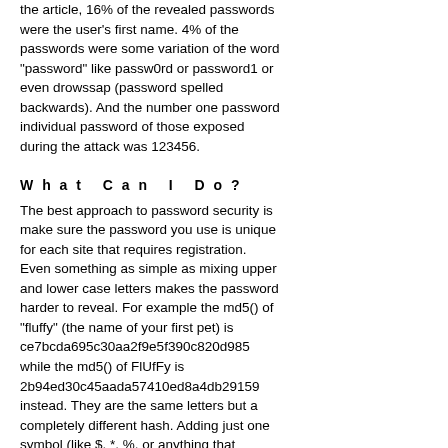the article, 16% of the revealed passwords were the user's first name. 4% of the passwords were some variation of the word "password" like passw0rd or password1 or even drowssap (password spelled backwards). And the number one password individual password of those exposed during the attack was 123456.
What Can I Do?
The best approach to password security is make sure the password you use is unique for each site that requires registration. Even something as simple as mixing upper and lower case letters makes the password harder to reveal. For example the md5() of "fluffy" (the name of your first pet) is ce7bcda695c30aa2f9e5f390c820d985 while the md5() of FlUfFy is 2b94ed30c45aada57410ed8a4db29159 instead. They are the same letters but a completely different hash. Adding just one symbol (like $, *, %, or anything that requries the shift key on a typical US keyboard) makes it even harder.
Rainbow Tables